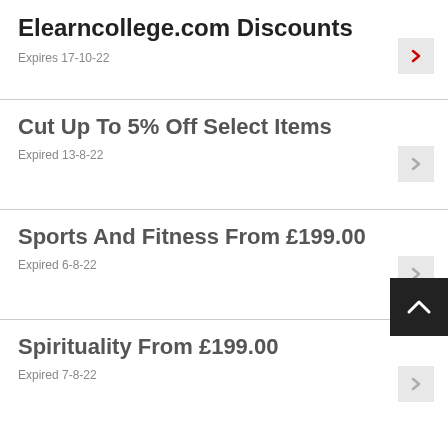Elearncollege.com Discounts
Expires 17-10-22
Cut Up To 5% Off Select Items
Expired 13-8-22
Sports And Fitness From £199.00
Expired 6-8-22
Spirituality From £199.00
Expired 7-8-22